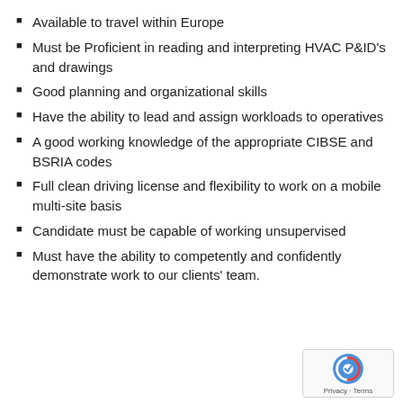Available to travel within Europe
Must be Proficient in reading and interpreting HVAC P&ID's and drawings
Good planning and organizational skills
Have the ability to lead and assign workloads to operatives
A good working knowledge of the appropriate CIBSE and BSRIA codes
Full clean driving license and flexibility to work on a mobile multi-site basis
Candidate must be capable of working unsupervised
Must have the ability to competently and confidently demonstrate work to our clients' team.